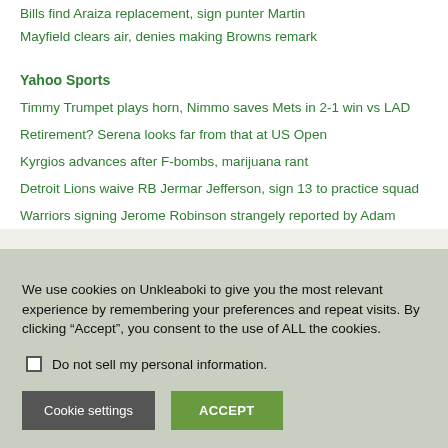Bills find Araiza replacement, sign punter Martin
Mayfield clears air, denies making Browns remark
Yahoo Sports
Timmy Trumpet plays horn, Nimmo saves Mets in 2-1 win vs LAD
Retirement? Serena looks far from that at US Open
Kyrgios advances after F-bombs, marijuana rant
Detroit Lions waive RB Jermar Jefferson, sign 13 to practice squad
Warriors signing Jerome Robinson strangely reported by Adam
We use cookies on Unkleaboki to give you the most relevant experience by remembering your preferences and repeat visits. By clicking “Accept”, you consent to the use of ALL the cookies.
Do not sell my personal information.
Cookie settings
ACCEPT